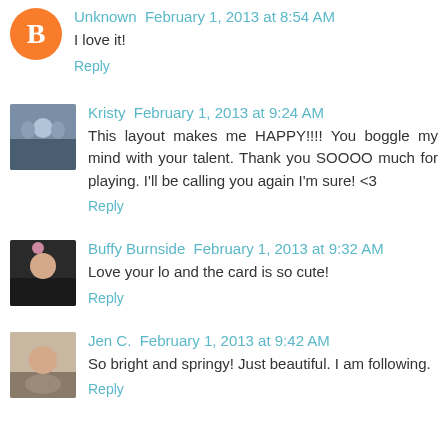Unknown  February 1, 2013 at 8:54 AM
I love it!
Reply
Kristy  February 1, 2013 at 9:24 AM
This layout makes me HAPPY!!!! You boggle my mind with your talent. Thank you SOOOO much for playing. I'll be calling you again I'm sure! <3
Reply
Buffy Burnside  February 1, 2013 at 9:32 AM
Love your lo and the card is so cute!
Reply
Jen C.  February 1, 2013 at 9:42 AM
So bright and springy! Just beautiful. I am following.
Reply